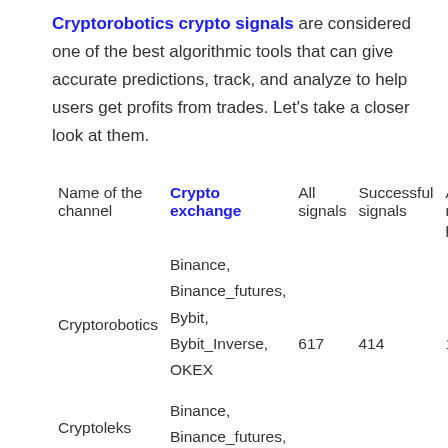Cryptorobotics crypto signals are considered one of the best algorithmic tools that can give accurate predictions, track, and analyze to help users get profits from trades. Let's take a closer look at them.
| Name of the channel | Crypto exchange | All signals | Successful signals | Average monthly profit |
| --- | --- | --- | --- | --- |
| Cryptorobotics | Binance, Binance_futures, Bybit, Bybit_Inverse, OKEX | 617 | 414 | 19.22% |
| Cryptoleks | Binance, Binance_futures |  |  |  |